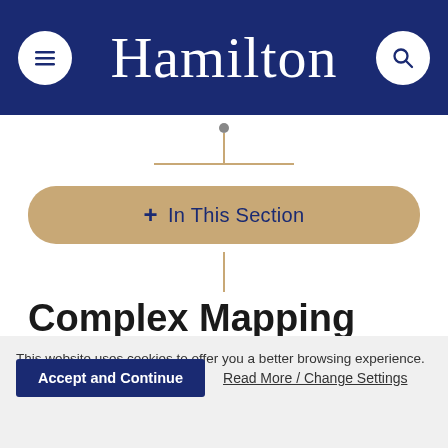Hamilton
+ In This Section
Complex Mapping Projects in the Liberal Arts
This website uses cookies to offer you a better browsing experience.
Accept and Continue
Read More / Change Settings